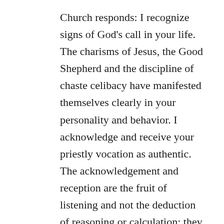Church responds: I recognize signs of God's call in your life. The charisms of Jesus, the Good Shepherd and the discipline of chaste celibacy have manifested themselves clearly in your personality and behavior. I acknowledge and receive your priestly vocation as authentic. The acknowledgement and reception are the fruit of listening and not the deduction of reasoning or calculation; they are made in the name of Christ with the same confident and humble declaration of faith in the mysterious workings of God as made by the young man and never as something to be taken for granted. There is call, listening, response, and loving service.
Our prayers for Austin Hoodenpyle, our son